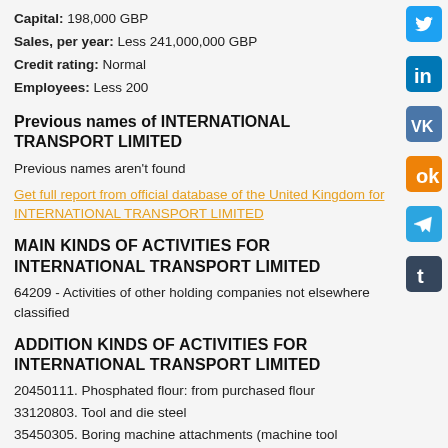Capital: 198,000 GBP
Sales, per year: Less 241,000,000 GBP
Credit rating: Normal
Employees: Less 200
Previous names of INTERNATIONAL TRANSPORT LIMITED
Previous names aren't found
Get full report from official database of the United Kingdom for INTERNATIONAL TRANSPORT LIMITED
MAIN KINDS OF ACTIVITIES FOR INTERNATIONAL TRANSPORT LIMITED
64209 - Activities of other holding companies not elsewhere classified
ADDITION KINDS OF ACTIVITIES FOR INTERNATIONAL TRANSPORT LIMITED
20450111. Phosphated flour: from purchased flour
33120803. Tool and die steel
35450305. Boring machine attachments (machine tool